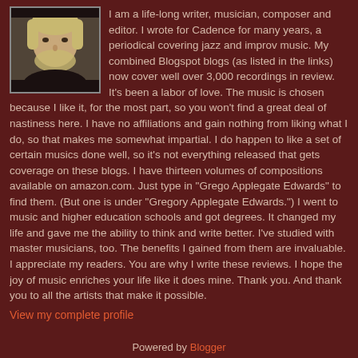[Figure (photo): Profile photo of the blog author, a person with light hair against a dark background]
I am a life-long writer, musician, composer and editor. I wrote for Cadence for many years, a periodical covering jazz and improv music. My combined Blogspot blogs (as listed in the links) now cover well over 3,000 recordings in review. It's been a labor of love. The music is chosen because I like it, for the most part, so you won't find a great deal of nastiness here. I have no affiliations and gain nothing from liking what I do, so that makes me somewhat impartial. I do happen to like a set of certain musics done well, so it's not everything released that gets coverage on these blogs. I have thirteen volumes of compositions available on amazon.com. Just type in "Grego Applegate Edwards" to find them. (But one is under "Gregory Applegate Edwards.") I went to music and higher education schools and got degrees. It changed my life and gave me the ability to think and write better. I've studied with master musicians, too. The benefits I gained from them are invaluable. I appreciate my readers. You are why I write these reviews. I hope the joy of music enriches your life like it does mine. Thank you. And thank you to all the artists that make it possible.
View my complete profile
Powered by Blogger